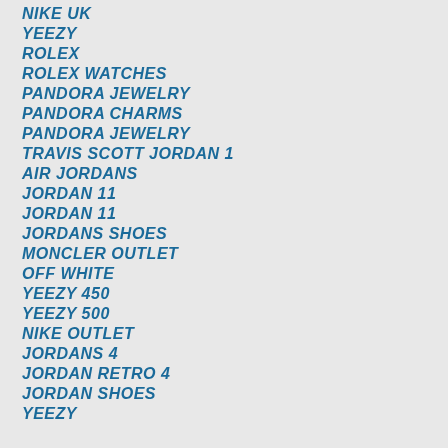NIKE UK
YEEZY
ROLEX
ROLEX WATCHES
PANDORA JEWELRY
PANDORA CHARMS
PANDORA JEWELRY
TRAVIS SCOTT JORDAN 1
AIR JORDANS
JORDAN 11
JORDAN 11
JORDANS SHOES
MONCLER OUTLET
OFF WHITE
YEEZY 450
YEEZY 500
NIKE OUTLET
JORDANS 4
JORDAN RETRO 4
JORDAN SHOES
YEEZY